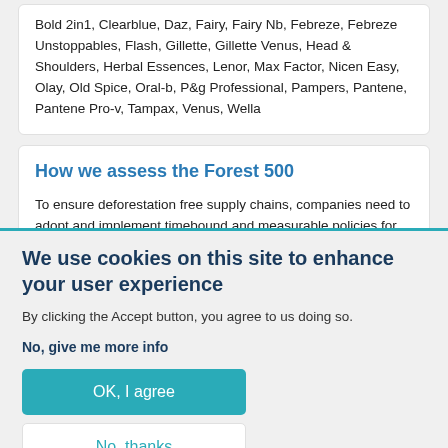Bold 2in1, Clearblue, Daz, Fairy, Fairy Nb, Febreze, Febreze Unstoppables, Flash, Gillette, Gillette Venus, Head & Shoulders, Herbal Essences, Lenor, Max Factor, Nicen Easy, Olay, Old Spice, Oral-b, P&g Professional, Pampers, Pantene, Pantene Pro-v, Tampax, Venus, Wella
How we assess the Forest 500
To ensure deforestation free supply chains, companies need to adopt and implement timebound and measurable policies for forest risk commodities.
We use cookies on this site to enhance your user experience
By clicking the Accept button, you agree to us doing so.
No, give me more info
OK, I agree
No, thanks